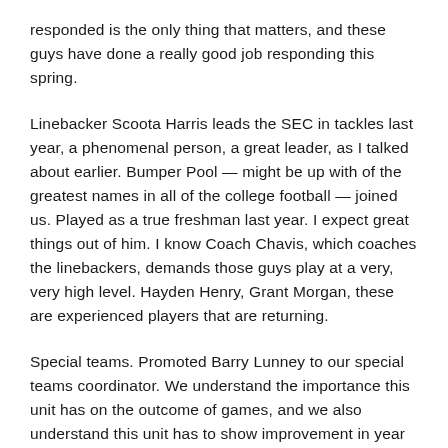responded is the only thing that matters, and these guys have done a really good job responding this spring.
Linebacker Scoota Harris leads the SEC in tackles last year, a phenomenal person, a great leader, as I talked about earlier. Bumper Pool — might be up with of the greatest names in all of the college football — joined us. Played as a true freshman last year. I expect great things out of him. I know Coach Chavis, which coaches the linebackers, demands those guys play at a very, very high level. Hayden Henry, Grant Morgan, these are experienced players that are returning.
Special teams. Promoted Barry Lunney to our special teams coordinator. We understand the importance this unit has on the outcome of games, and we also understand this unit has to show improvement in year...